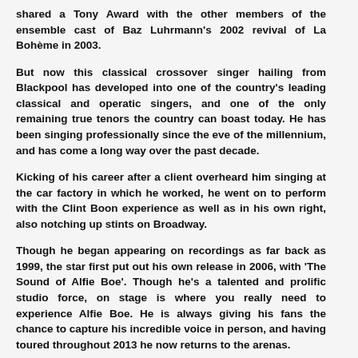shared a Tony Award with the other members of the ensemble cast of Baz Luhrmann's 2002 revival of La Bohème in 2003.
But now this classical crossover singer hailing from Blackpool has developed into one of the country's leading classical and operatic singers, and one of the only remaining true tenors the country can boast today. He has been singing professionally since the eve of the millennium, and has come a long way over the past decade.
Kicking of his career after a client overheard him singing at the car factory in which he worked, he went on to perform with the Clint Boon experience as well as in his own right, also notching up stints on Broadway.
Though he began appearing on recordings as far back as 1999, the star first put out his own release in 2006, with 'The Sound of Alfie Boe'. Though he's a talented and prolific studio force, on stage is where you really need to experience Alfie Boe. He is always giving his fans the chance to capture his incredible voice in person, and having toured throughout 2013 he now returns to the arenas.